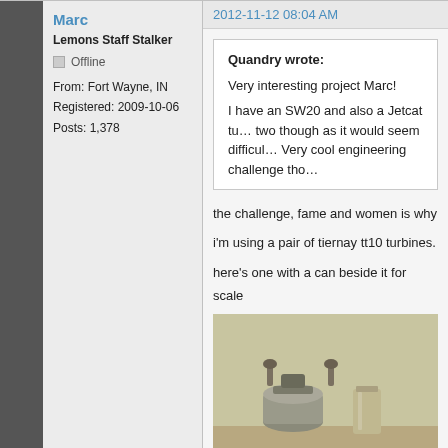Marc
Lemons Staff Stalker
Offline
From: Fort Wayne, IN
Registered: 2009-10-06
Posts: 1,378
2012-11-12 08:04 AM
Quandry wrote:
Very interesting project Marc!
I have an SW20 and also a Jetcat tu... two though as it would seem difficul... Very cool engineering challenge tho...
the challenge, fame and women is why
i'm using a pair of tiernay tt10 turbines.
here's one with a can beside it for scale
[Figure (photo): Photo of turbine(s) with a can beside for scale, showing metallic mechanical parts on a surface]